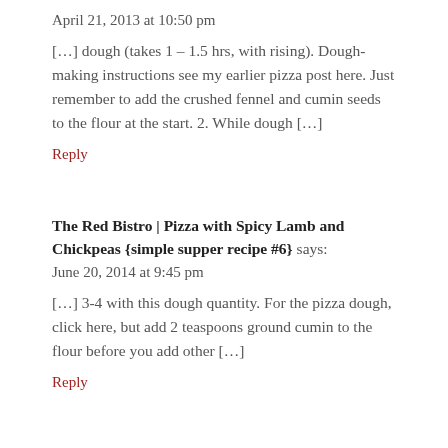April 21, 2013 at 10:50 pm
[…] dough (takes 1 – 1.5 hrs, with rising). Dough-making instructions see my earlier pizza post here. Just remember to add the crushed fennel and cumin seeds to the flour at the start. 2. While dough […]
Reply
The Red Bistro | Pizza with Spicy Lamb and Chickpeas {simple supper recipe #6} says:
June 20, 2014 at 9:45 pm
[…] 3-4 with this dough quantity. For the pizza dough, click here, but add 2 teaspoons ground cumin to the flour before you add other […]
Reply